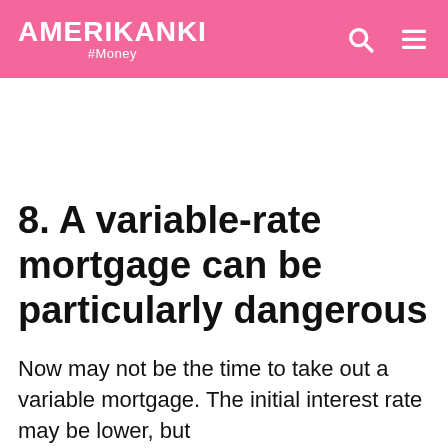AMERIKANKI #Money
8. A variable-rate mortgage can be particularly dangerous
Now may not be the time to take out a variable mortgage. The initial interest rate may be lower, but